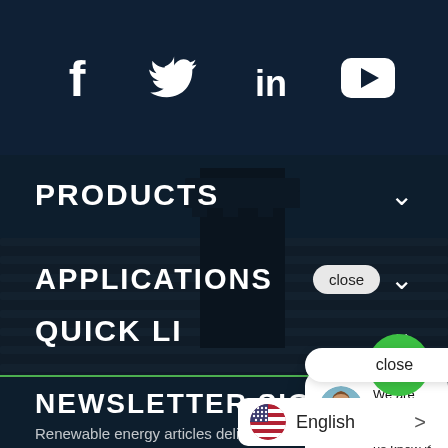[Figure (screenshot): Social media icons: Facebook, Twitter, LinkedIn, YouTube on dark navy background]
PRODUCTS
APPLICATIONS
QUICK LINKS
We are here for you! Let us know if you have any questions.
NEWSLETTER SIGNUP
Renewable energy articles deliver...
close
English